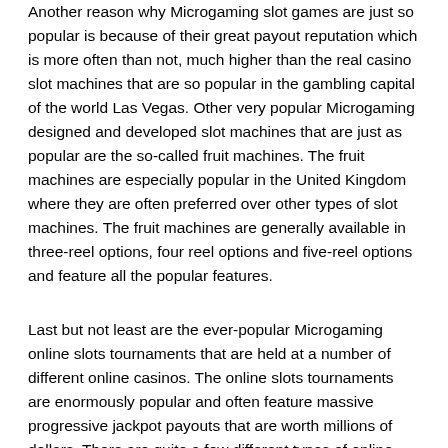Another reason why Microgaming slot games are just so popular is because of their great payout reputation which is more often than not, much higher than the real casino slot machines that are so popular in the gambling capital of the world Las Vegas. Other very popular Microgaming designed and developed slot machines that are just as popular are the so-called fruit machines. The fruit machines are especially popular in the United Kingdom where they are often preferred over other types of slot machines. The fruit machines are generally available in three-reel options, four reel options and five-reel options and feature all the popular features.
Last but not least are the ever-popular Microgaming online slots tournaments that are held at a number of different online casinos. The online slots tournaments are enormously popular and often feature massive progressive jackpot payouts that are worth millions of dollars. There are quite a few different types of online slot tournaments that